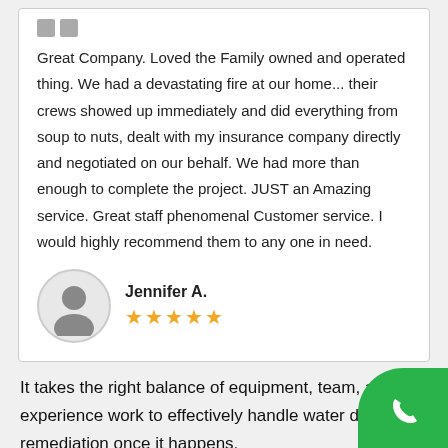Great Company. Loved the Family owned and operated thing. We had a devastating fire at our home... their crews showed up immediately and did everything from soup to nuts, dealt with my insurance company directly and negotiated on our behalf. We had more than enough to complete the project. JUST an Amazing service. Great staff phenomenal Customer service. I would highly recommend them to any one in need.
Jennifer A.
[Figure (illustration): Generic user avatar icon, gray silhouette of a person in a circular frame]
★★★★★ (5 stars)
It takes the right balance of equipment, team, and experience work to effectively handle water damage remediation once it happens.
[Figure (illustration): Green circular phone button in bottom right corner]